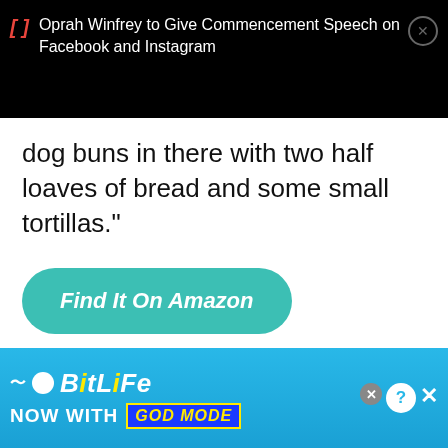Oprah Winfrey to Give Commencement Speech on Facebook and Instagram
dog buns in there with two half loaves of bread and some small tortillas."
Find It On Amazon
ADVERTISEMENT
[Figure (photo): Advertisement banner showing a close-up photo of a person's face/skin, partially visible]
[Figure (infographic): BitLife game advertisement banner: blue background with BitLife logo, 'NOW WITH GOD MODE' text, yellow pointing hand graphic, and close/question mark buttons]